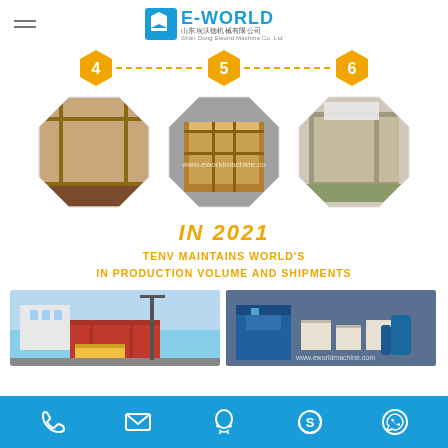[Figure (logo): E-World ShanDong Eworld Machine Co.,Ltd logo with blue/orange branding]
[Figure (infographic): Step indicators 4, 5, 6 in orange hexagons connected by dashed lines, with three octagonal photos showing packaging and crating of machinery]
IN 2021
TENV MAINTAINS WORLD'S
IN PRODUCTION VOLUME AND SHIPMENTS
[Figure (photo): Two shipment/loading photos showing containers being loaded with machinery at factory]
[Figure (infographic): Footer bar with contact icons: phone, email, QQ, Skype, WhatsApp on blue background]